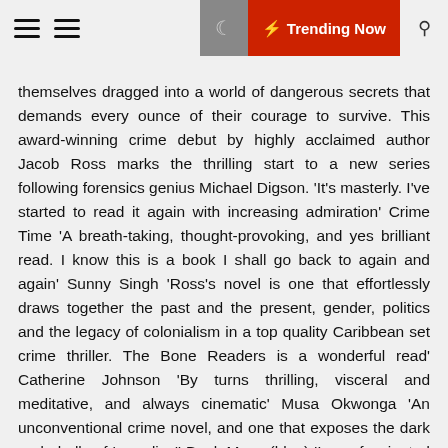☰ ☰ | 🌙 | ⚡ Trending Now | 🔍
themselves dragged into a world of dangerous secrets that demands every ounce of their courage to survive. This award-winning crime debut by highly acclaimed author Jacob Ross marks the thrilling start to a new series following forensics genius Michael Digson. 'It's masterly. I've started to read it again with increasing admiration' Crime Time 'A breath-taking, thought-provoking, and yes brilliant read. I know this is a book I shall go back to again and again' Sunny Singh 'Ross's novel is one that effortlessly draws together the past and the present, gender, politics and the legacy of colonialism in a top quality Caribbean set crime thriller. The Bone Readers is a wonderful read' Catherine Johnson 'By turns thrilling, visceral and meditative, and always cinematic' Musa Okwonga 'An unconventional crime novel, and one that exposes the dark underbelly of 'paradise'' Book Muse (blog) 'I was fascinated by Ross' ability to create characters with depth and diversity. A great read' Not Chai tea (blog) 'A unique read, paced to the islands where it takes place with a group of interesting characters I will enjoy following into future books' Word Dreams (blog) 'An engaging, poetic and twist-filled Caribbean crime-noir novel. Masterful' Book